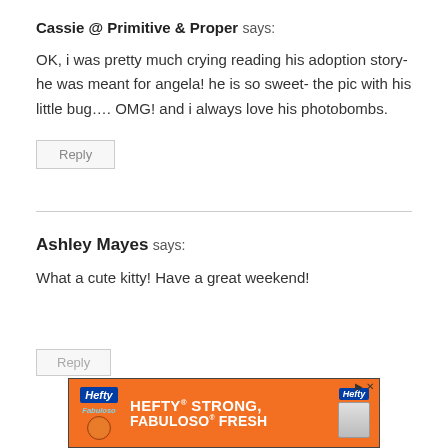Cassie @ Primitive & Proper says:
OK, i was pretty much crying reading his adoption story- he was meant for angela! he is so sweet- the pic with his little bug…. OMG! and i always love his photobombs.
Reply
Ashley Mayes says:
What a cute kitty! Have a great weekend!
[Figure (other): Hefty HEFTY STRONG, FABULOSO FRESH advertisement banner with orange background, Hefty and Fabuloso logos]